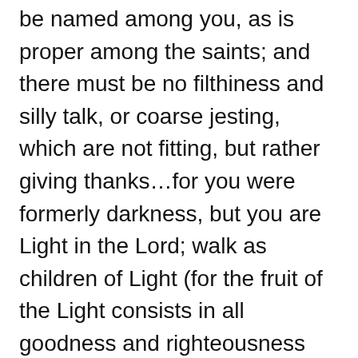be named among you, as is proper among the saints; and there must be no filthiness and silly talk, or coarse jesting, which are not fitting, but rather giving thanks…for you were formerly darkness, but you are Light in the Lord; walk as children of Light (for the fruit of the Light consists in all goodness and righteousness and truth), trying to learn what is pleasing to the Lord. Do not participate in the unfruitful deeds of the darkness, but instead even, expose them.
It should bother us that gossip is so readily accepted in the world around us. This is not an easy topic to talk about in the church. However, it is one that we need to talk about. If we want a healthy church, we